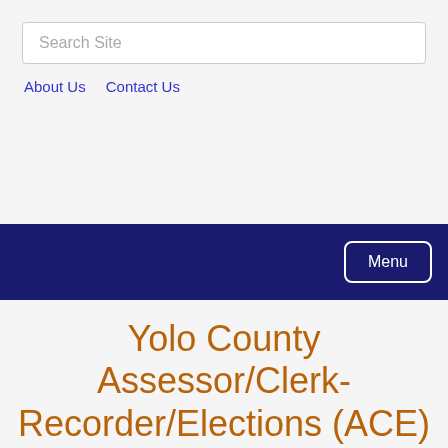Search Site
About Us   Contact Us
Menu
Yolo County Assessor/Clerk-Recorder/Elections (ACE)